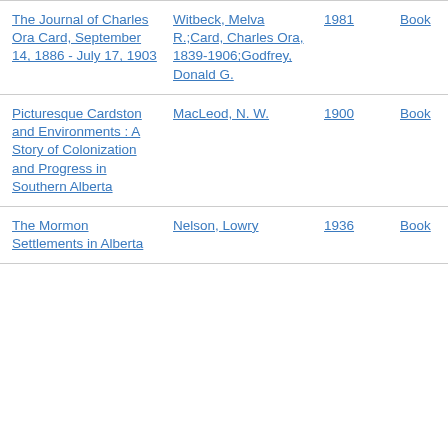| Title | Author | Year | Type |
| --- | --- | --- | --- |
| The Journal of Charles Ora Card, September 14, 1886 - July 17, 1903 | Witbeck, Melva R.;Card, Charles Ora, 1839-1906;Godfrey, Donald G. | 1981 | Book |
| Picturesque Cardston and Environments : A Story of Colonization and Progress in Southern Alberta | MacLeod, N. W. | 1900 | Book |
| The Mormon Settlements in Alberta | Nelson, Lowry | 1936 | Book |